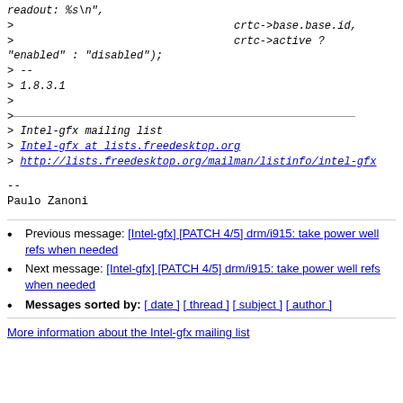readout: %s\n",
>					crtc->base.base.id,
>					crtc->active ?
"enabled" : "disabled");
> --
> 1.8.3.1
>
>
> Intel-gfx mailing list
> Intel-gfx at lists.freedesktop.org
> http://lists.freedesktop.org/mailman/listinfo/intel-gfx
--
Paulo Zanoni
Previous message: [Intel-gfx] [PATCH 4/5] drm/i915: take power well refs when needed
Next message: [Intel-gfx] [PATCH 4/5] drm/i915: take power well refs when needed
Messages sorted by: [ date ] [ thread ] [ subject ] [ author ]
More information about the Intel-gfx mailing list